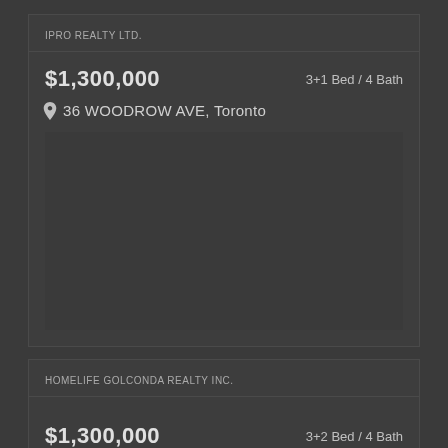IPRO REALTY LTD.
$1,300,000
3+1 Bed / 4 Bath
36 WOODROW AVE, Toronto
[Figure (photo): Property photo placeholder area, dark background]
HOMELIFE GOLCONDA REALTY INC.
$1,300,000
3+2 Bed / 4 Bath
131 WHISTLING HILLS DR, Toronto